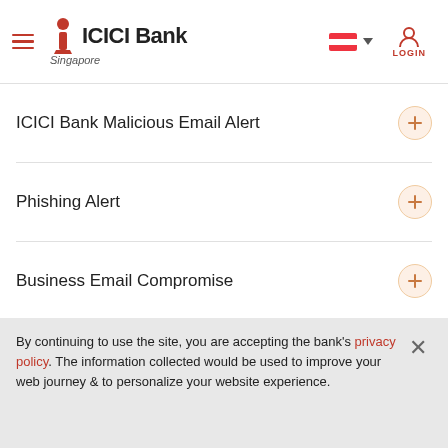[Figure (logo): ICICI Bank Singapore logo with hamburger menu, flag dropdown, and login button]
ICICI Bank Malicious Email Alert
Phishing Alert
Business Email Compromise
Bogus Phone Calls
Cookie Policy
Cookies are small text files that are placed on your device by websites that you visit. They are widely used in order to make websites work, or work more efficiently, as well as to provide
By continuing to use the site, you are accepting the bank's privacy policy. The information collected would be used to improve your web journey & to personalize your website experience.